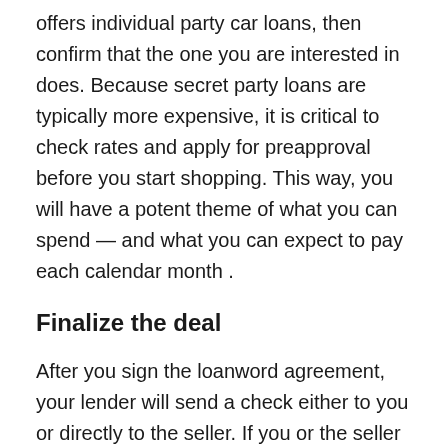offers individual party car loans, then confirm that the one you are interested in does. Because secret party loans are typically more expensive, it is critical to check rates and apply for preapproval before you start shopping. This way, you will have a potent theme of what you can spend — and what you can expect to pay each calendar month .
Finalize the deal
After you sign the loanword agreement, your lender will send a check either to you or directly to the seller. If you or the seller choose for direct deposit, make certain the seller knows that transferring funds can take a few days. The state the softwood is occurring in determines what must be done to